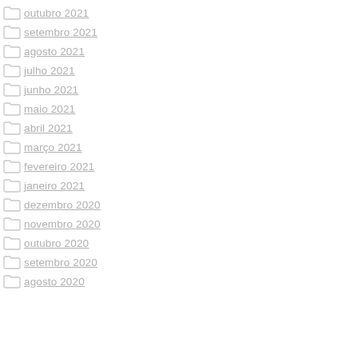outubro 2021
setembro 2021
agosto 2021
julho 2021
junho 2021
maio 2021
abril 2021
março 2021
fevereiro 2021
janeiro 2021
dezembro 2020
novembro 2020
outubro 2020
setembro 2020
agosto 2020